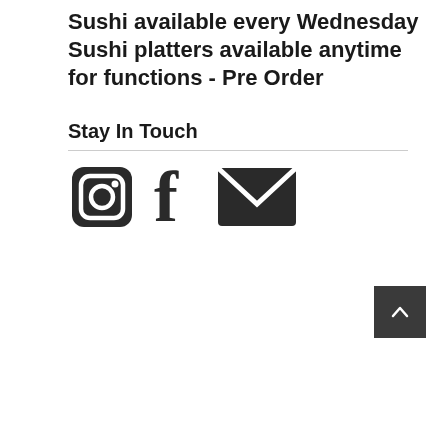Sushi available every Wednesday Sushi platters available anytime for functions - Pre Order
Stay In Touch
[Figure (infographic): Three social media icons: Instagram camera icon, Facebook 'f' icon, and an envelope/email icon, all in dark gray/black.]
[Figure (other): Back to top button — dark gray square with a small upward-pointing caret arrow.]